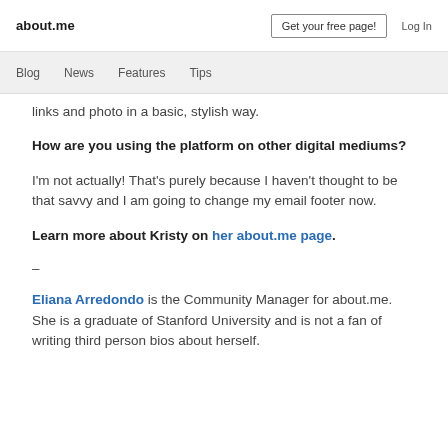about.me   Get your free page!   Log In
Blog   News   Features   Tips
links and photo in a basic, stylish way.
How are you using the platform on other digital mediums?
I’m not actually! That’s purely because I haven’t thought to be that savvy and I am going to change my email footer now.
Learn more about Kristy on her about.me page.
–
Eliana Arredondo is the Community Manager for about.me. She is a graduate of Stanford University and is not a fan of writing third person bios about herself.